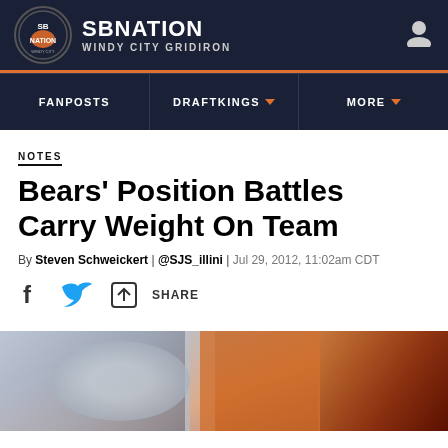SB NATION — WINDY CITY GRIDIRON
NOTES
Bears' Position Battles Carry Weight On Team
By Steven Schweickert | @SJS_illini | Jul 29, 2012, 11:02am CDT
SHARE
[Figure (photo): Bottom portion of page showing a partially visible photo of a football player in orange jersey, cropped at bottom of page]